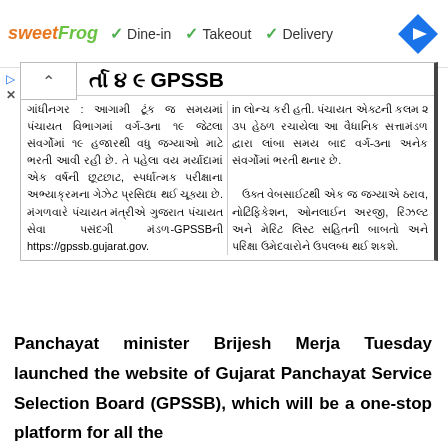[Figure (other): sweetFrog advertisement banner with Dine-in, Takeout, Delivery options and navigation icon]
[Figure (screenshot): Gujarati newspaper clipping about GPSSB website launch with two-column Gujarati text and partial headline]
Panchayat minister Brijesh Merja Tuesday launched the website of Gujarat Panchayat Service Selection Board (GPSSB), which will be a one-stop platform for all the